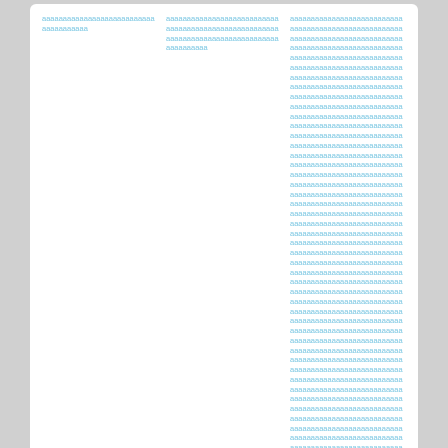| col1 | col2 | col3 | col4 | col5 | col6 |
| --- | --- | --- | --- | --- | --- |
| ааааааааааааааааа | аааааааааааааааааа | аааааааааааааааааааааа | ааааааааааааааааааааааа | ааааааааааааааааааааааааа | аааааааааааааааааааааааааааааааааааааааа |
| аааааааааааааааааааааа | аааааааааааааааааааааа | аааааааааааааааааааааааааааааааа | аааааааааааааааааааааааааааааааааааааааааааааааааааааааааааа | аааааааааааааааааааааааааааааааааааааааааааааааааааааааааааааааааааааааааааааааааааааааааааааааааааааааааааааааааааааааааааааааааааааааааааааааааааааааааааааааааааааааааааааааааааааааааааааааааааааааааааааааааааааааааааааааааааааааааааааааааааааааааааааааааааааааааааааааааааааааааааааааааааааааааааааааааааааааааааааааааааааааааааааааааааааааааааааааааааа | аааааааааааааааааааааааааааааааааааааааааааааааааааааааааааааааааааааааааааааааааааааааааааааааааааааааааааааааааааааааааааааааааааааааааааааааааааааааааааааааааааааааааааааааааааааааааааааааааааааааааааааааааааааааааааааааааааааааааааааааааааааааааааааааааааааааааааааааааааааааааааааааааааааааааааааааааааааааааааааааааааааааааааааааааааааааааааааааааааааааааааааааааааааааааааааааааааааа |
[Figure (logo): WPS Office app icon - blue rounded square with white W lettermark]
ааааааааааааааааааааааааааааааааааааааааааааааааааааааааааааааааааааааааааа